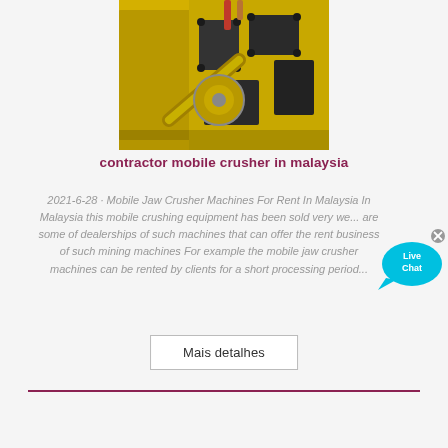[Figure (photo): Yellow industrial mobile jaw crusher machine, close-up of mechanical components]
contractor mobile crusher in malaysia
2021-6-28 · Mobile Jaw Crusher Machines For Rent In Malaysia In Malaysia this mobile crushing equipment has been sold very we... are some of dealerships of such machines that can offer the rent business of such mining machines For example the mobile jaw crusher machines can be rented by clients for a short processing period...
Mais detalhes